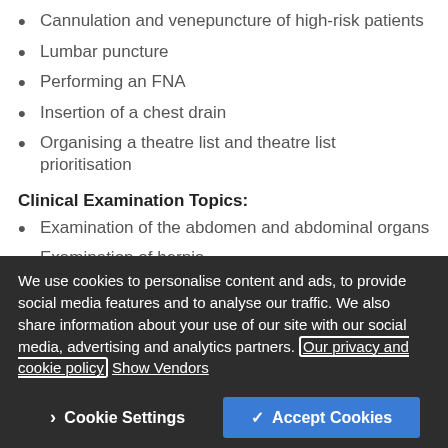Cannulation and venepuncture of high-risk patients
Lumbar puncture
Performing an FNA
Insertion of a chest drain
Organising a theatre list and theatre list prioritisation
Clinical Examination Topics:
Examination of the abdomen and abdominal organs
Examination of hernia
Examination of varicose veins and leg ulcers
Examination of peripheral vascular disease
Examination of lumps and lymph nodes
Examination of cranial nerves
We use cookies to personalise content and ads, to provide social media features and to analyse our traffic. We also share information about your use of our site with our social media, advertising and analytics partners. Our privacy and cookie policy Show Vendors
Cookie Settings | Accept Cookies